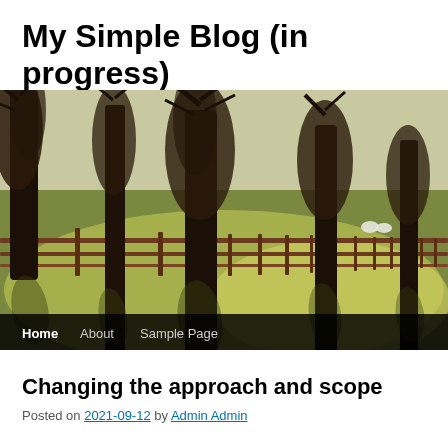My Simple Blog (in progress)
[Figure (photo): Photograph of a row of large bare trees along a wooden fence in a sunlit field, with two sheep visible in the background. Navigation bar below shows: Home, About, Sample Page.]
Changing the approach and scope
Posted on 2021-09-12 by Admin Admin